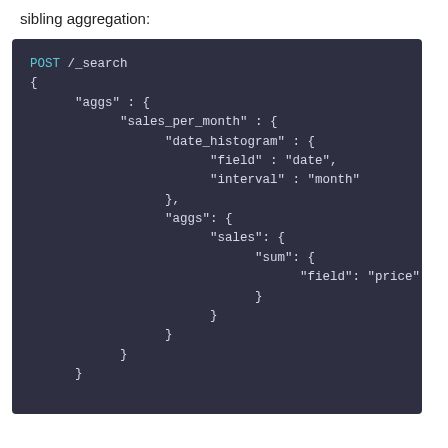sibling aggregation:
[Figure (screenshot): Dark-themed code block showing an Elasticsearch POST /_search request with nested aggs for sales_per_month using date_histogram and a sub-agg for sales using sum on the price field.]